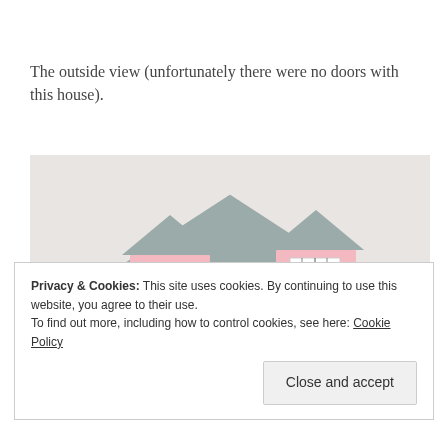The outside view (unfortunately there were no doors with this house).
[Figure (photo): A dollhouse showing the exterior with a grey shingled roof, two pink dormer windows with white window panes, a balcony with white railings, and visible interior rooms on the lower level.]
Privacy & Cookies: This site uses cookies. By continuing to use this website, you agree to their use.
To find out more, including how to control cookies, see here: Cookie Policy